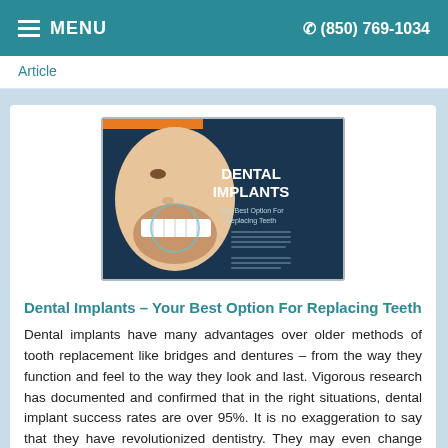MENU   (850) 769-1034
Article
[Figure (illustration): Dental Implants promotional image showing a woman's profile with dental implants highlighted, text reads 'DENTAL IMPLANTS Your Best Option For Replacing Teeth']
Dental Implants – Your Best Option For Replacing Teeth
Dental implants have many advantages over older methods of tooth replacement like bridges and dentures – from the way they function and feel to the way they look and last. Vigorous research has documented and confirmed that in the right situations, dental implant success rates are over 95%. It is no exaggeration to say that they have revolutionized dentistry. They may even change your life... Read Article